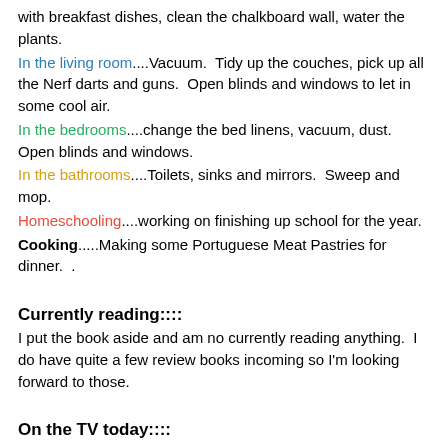with breakfast dishes, clean the chalkboard wall, water the plants.
In the living room....Vacuum.  Tidy up the couches, pick up all the Nerf darts and guns.  Open blinds and windows to let in some cool air.
In the bedrooms....change the bed linens, vacuum, dust.  Open blinds and windows.
In the bathrooms....Toilets, sinks and mirrors.  Sweep and mop.
Homeschooling....working on finishing up school for the year.
Cooking.....Making some Portuguese Meat Pastries for dinner.  .
Currently reading::::
I put the book aside and am no currently reading anything.  I do have quite a few review books incoming so I'm looking forward to those.
On the TV today::::